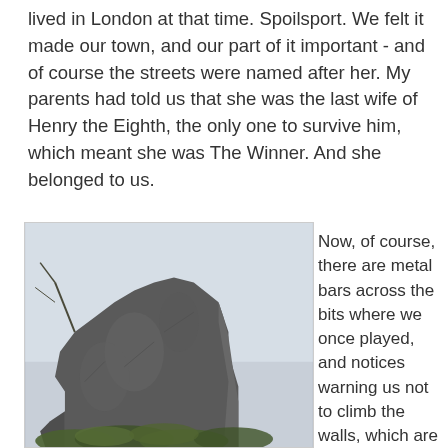lived in London at that time. Spoilsport. We felt it made our town, and our part of it important - and of course the streets were named after her. My parents had told us that she was the last wife of Henry the Eighth, the only one to survive him, which meant she was The Winner. And she belonged to us.
[Figure (photo): Photograph of a ruined stone wall or tower, possibly a medieval castle ruin, with vegetation at the base and a pale sky in the background.]
Now, of course, there are metal bars across the bits where we once played, and notices warning us not to climb the walls, which are fragile, and doubtless we did our bit in helping them become so. There are information panels, so you can find out that The Dungeon was actually a storage